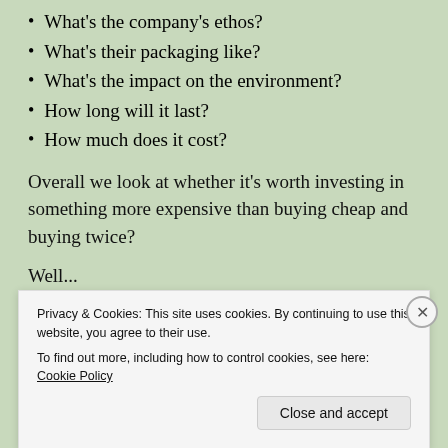What's the company's ethos?
What's their packaging like?
What's the impact on the environment?
How long will it last?
How much does it cost?
Overall we look at whether it's worth investing in something more expensive than buying cheap and buying twice?
Well...
Privacy & Cookies: This site uses cookies. By continuing to use this website, you agree to their use.
To find out more, including how to control cookies, see here: Cookie Policy
Close and accept